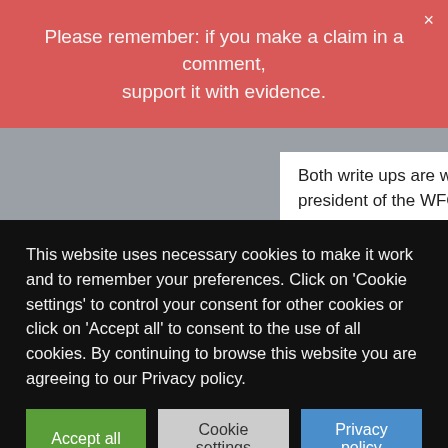Please remember: if you make a claim in a comment, support it with evidence.
Both write ups are well worth a read. Note in the final link that Vivian Kil DC, current president of the WFC, states that part of her vision is:
QUOTE
1. That we will (the chiropractic profession) set aside our differences within the profession, unite as a profession, and agree that becoming the source of nonsurgical, nonpharmacological, primary, spine care expertise and management should be a primary common goal.
2. That for us to do the necessary work to fulfill this role and do it with the entire profession.
This website uses necessary cookies to make it work and to remember your preferences. Click on 'Cookie settings' to control your consent for other cookies or click on 'Accept all' to consent to the use of all cookies. By continuing to browse this website you are agreeing to our Privacy policy.